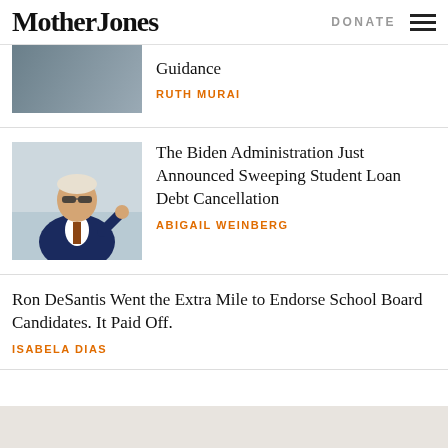Mother Jones
DONATE
[Figure (photo): Partial article thumbnail at top, partially cropped image]
Guidance
RUTH MURAI
[Figure (photo): Photo of Joe Biden wearing sunglasses and a suit, waving, standing on airplane stairs]
The Biden Administration Just Announced Sweeping Student Loan Debt Cancellation
ABIGAIL WEINBERG
Ron DeSantis Went the Extra Mile to Endorse School Board Candidates. It Paid Off.
ISABELA DIAS